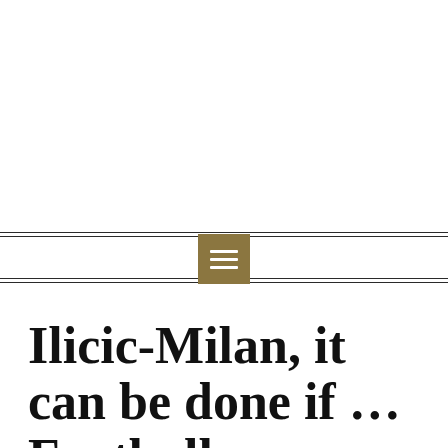[Figure (other): Navigation bar with two double horizontal lines and a centered hamburger menu icon on a tan/gold background]
Ilicic-Milan, it can be done if … Football